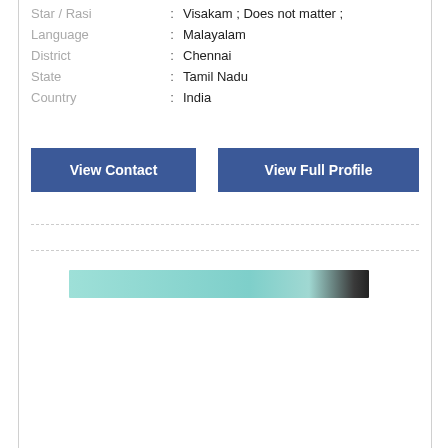Star / Rasi : Visakam ; Does not matter ;
Language : Malayalam
District : Chennai
State : Tamil Nadu
Country : India
View Contact
View Full Profile
[Figure (photo): Partially visible banner/advertisement image with teal/turquoise and dark tones at the bottom of the page]